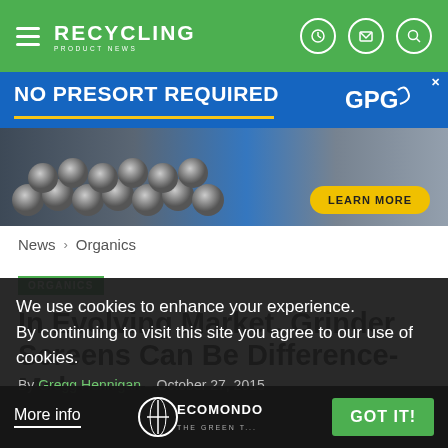RECYCLING PRODUCT NEWS
[Figure (photo): Advertisement banner: NO PRESORT REQUIRED with GPG logo and LEARN MORE button, showing recycling machinery image]
News > Organics
ORGANICS
In Evolving Market, Grinder Screens Can Be Difference-Makers
By Gregg Hennigan – October 27, 2015
We use cookies to enhance your experience. By continuing to visit this site you agree to our use of cookies.
More info
[Figure (logo): ECOMONDO THE GREEN TECHNOLOGY logo]
GOT IT!